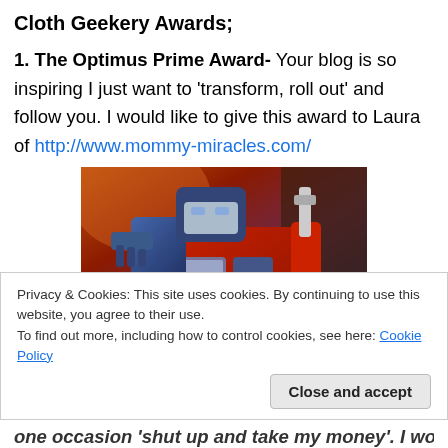Cloth Geekery Awards;
1. The Optimus Prime Award- Your blog is so inspiring I just want to 'transform, roll out' and follow you. I would like to give this award to Laura of http://www.mommy-miracles.com/
[Figure (photo): Animated image of Optimus Prime (Transformers character) showing the robot in red and blue colors with a mechanical body]
Privacy & Cookies: This site uses cookies. By continuing to use this website, you agree to their use.
To find out more, including how to control cookies, see here: Cookie Policy
one occasion 'shut up and take my money'. I would like to